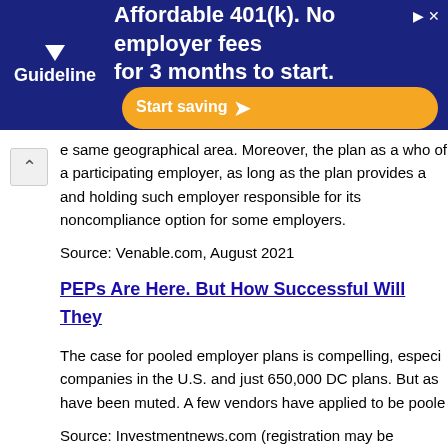[Figure (other): Advertisement banner for Guideline 401(k) service. Dark blue background with Guideline logo (triangle icon and text), text reading 'Affordable 401(k). No employer fees for 3 months to start.' with an orange 'Start saving' call-to-action button.]
create versions of multiple employer plans; it need not be same geographical area. Moreover, the plan as a whole of a participating employer, as long as the plan provides a and holding such employer responsible for its noncompliance option for some employers.
Source: Venable.com, August 2021
PEPs Are Here. But How Successful Will They
The case for pooled employer plans is compelling, especially companies in the U.S. and just 650,000 DC plans. But as have been muted. A few vendors have applied to be pooled
Source: Investmentnews.com (registration may be required
The SECURE Act Acronym Plans: PEPs, MEPs
The SECURE Act sought to broaden retirement plan coverage